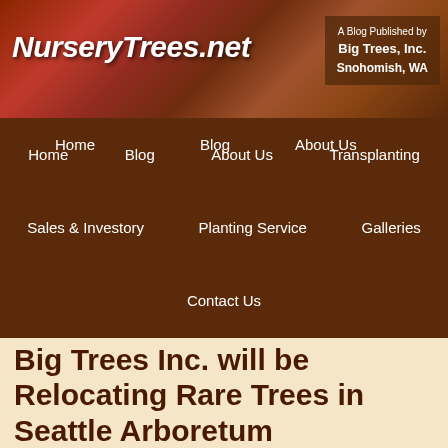NurseryTrees.net — A Blog Published by Big Trees, Inc. Snohomish, WA
Home
Blog
About Us
Transplanting
Sales & Investory
Planting Service
Galleries
Contact Us
Big Trees Inc. will be Relocating Rare Trees in Seattle Arboretum
Written by admin777 on December 4, 2015
[Figure (photo): Close-up photo of autumn leaves with red and green coloring on tree branches]